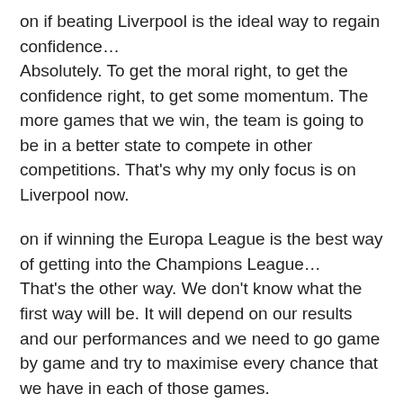on if beating Liverpool is the ideal way to regain confidence…
Absolutely. To get the moral right, to get the confidence right, to get some momentum. The more games that we win, the team is going to be in a better state to compete in other competitions. That's why my only focus is on Liverpool now.
on if winning the Europa League is the best way of getting into the Champions League…
That's the other way. We don't know what the first way will be. It will depend on our results and our performances and we need to go game by game and try to maximise every chance that we have in each of those games.